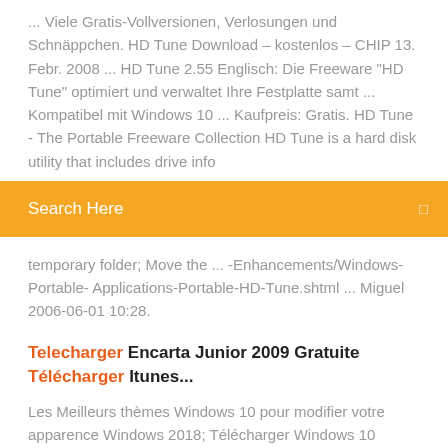... Viele Gratis-Vollversionen, Verlosungen und Schnäppchen. HD Tune Download – kostenlos – CHIP 13. Febr. 2008 ... HD Tune 2.55 Englisch: Die Freeware "HD Tune" optimiert und verwaltet Ihre Festplatte samt ... Kompatibel mit Windows 10 ... Kaufpreis: Gratis. HD Tune - The Portable Freeware Collection HD Tune is a hard disk utility that includes drive info
Search Here
temporary folder; Move the ... -Enhancements/Windows-Portable- Applications-Portable-HD-Tune.shtml ... Miguel 2006-06-01 10:28.
Telecharger Encarta Junior 2009 Gratuite Télécharger Itunes...
Les Meilleurs thèmes Windows 10 pour modifier votre apparence Windows 2018; Télécharger Windows 10 complet gratuit Official: Ca fait pas mal de temps que Windows 10 est